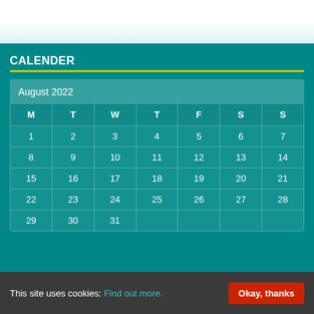CALENDER
| M | T | W | T | F | S | S |
| --- | --- | --- | --- | --- | --- | --- |
| 1 | 2 | 3 | 4 | 5 | 6 | 7 |
| 8 | 9 | 10 | 11 | 12 | 13 | 14 |
| 15 | 16 | 17 | 18 | 19 | 20 | 21 |
| 22 | 23 | 24 | 25 | 26 | 27 | 28 |
| 29 | 30 | 31 |  |  |  |  |
This site uses cookies: Find out more. Okay, thanks